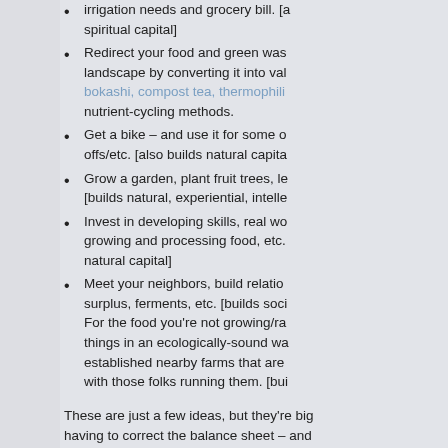irrigation needs and grocery bill. [also builds spiritual capital]
Redirect your food and green waste from the landscape by converting it into valuable bokashi, compost tea, thermophilic and other nutrient-cycling methods.
Get a bike – and use it for some of your drop-offs/etc. [also builds natural capital…]
Grow a garden, plant fruit trees, legumes… [builds natural, experiential, intelle…
Invest in developing skills, real wo… growing and processing food, etc. … natural capital]
Meet your neighbors, build relatio… surplus, ferments, etc. [builds soci… For the food you're not growing/ra… things in an ecologically-sound wa… established nearby farms that are … with those folks running them. [bui…
These are just a few ideas, but they're big… having to correct the balance sheet – and… benefit of doing all of these things is that t… cultural, and environmental health, for onl… when we look back.